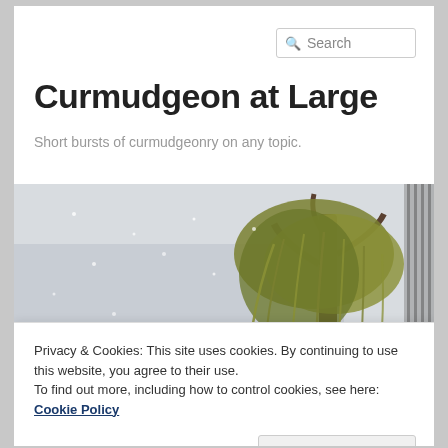[Figure (screenshot): Search box in top right corner of webpage header]
Curmudgeon at Large
Short bursts of curmudgeonry on any topic.
[Figure (photo): A weeping willow tree in snowy/wintry conditions by a body of water]
Privacy & Cookies: This site uses cookies. By continuing to use this website, you agree to their use.
To find out more, including how to control cookies, see here: Cookie Policy